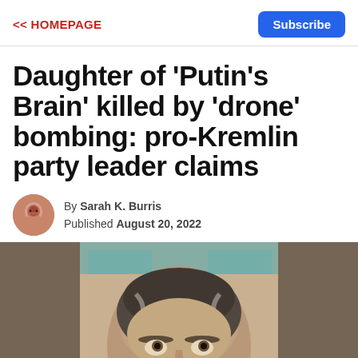<< HOMEPAGE | Subscribe
Daughter of 'Putin's Brain' killed by 'drone' bombing: pro-Kremlin party leader claims
By Sarah K. Burris
Published August 20, 2022
[Figure (photo): Close-up photo of an older man with long gray-streaked beard and mustache looking upward, with a blurred teal/turquoise background signage.]